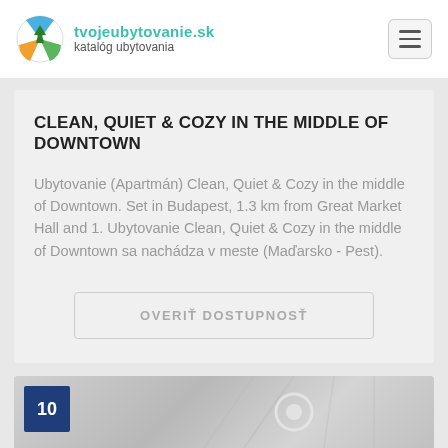tvojeubytovanie.sk katalóg ubytovania
CLEAN, QUIET & COZY IN THE MIDDLE OF DOWNTOWN
Ubytovanie (Apartmán) Clean, Quiet & Cozy in the middle of Downtown. Set in Budapest, 1.3 km from Great Market Hall and 1. Ubytovanie Clean, Quiet & Cozy in the middle of Downtown sa nachádza v meste (Maďarsko - Pest).
OVERIŤ DOSTUPNOSŤ
[Figure (photo): Bottom partial view of a room with white decorative ceiling and lighting, with a dark blue badge showing number 10]